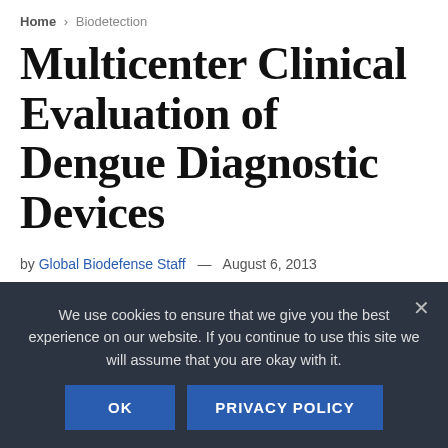Home › Biodetection
Multicenter Clinical Evaluation of Dengue Diagnostic Devices
by Global Biodefense Staff — August 6, 2013
[Figure (photo): Grayscale electron microscopy image showing dengue virus particles and biological structures]
We use cookies to ensure that we give you the best experience on our website. If you continue to use this site we will assume that you are okay with it.